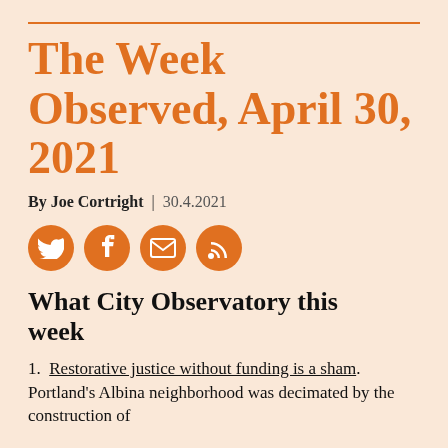The Week Observed, April 30, 2021
By Joe Cortright | 30.4.2021
[Figure (infographic): Four orange circular social media icons: Twitter bird, Facebook f, envelope/email, RSS feed]
What City Observatory this week
1. Restorative justice without funding is a sham. Portland's Albina neighborhood was decimated by the construction of